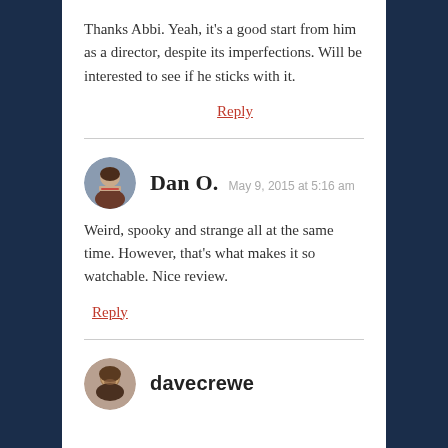Thanks Abbi. Yeah, it's a good start from him as a director, despite its imperfections. Will be interested to see if he sticks with it.
Reply
Dan O.  May 9, 2015 at 5:16 am
Weird, spooky and strange all at the same time. However, that's what makes it so watchable. Nice review.
Reply
davecrewe